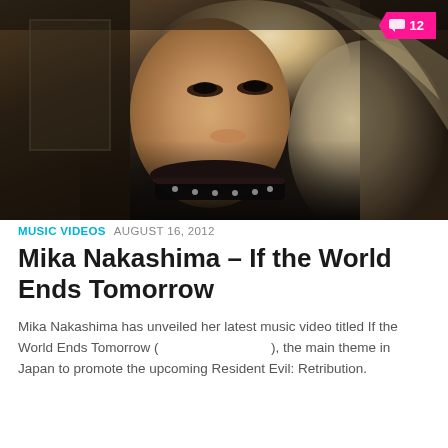[Figure (photo): Music video still showing a blonde woman with dramatic makeup wearing a black collar/choker, in a dark atmospheric scene]
MUSIC VIDEOS  AUGUST 16, 2012
Mika Nakashima – If the World Ends Tomorrow
Mika Nakashima has unveiled her latest music video titled If the World Ends Tomorrow (                              ), the main theme in Japan to promote the upcoming Resident Evil: Retribution.